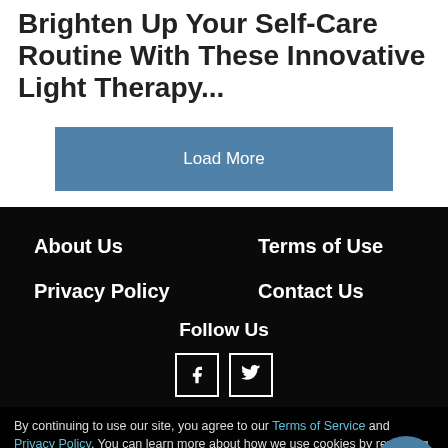Brighten Up Your Self-Care Routine With These Innovative Light Therapy...
Load More
About Us
Terms of Use
Privacy Policy
Contact Us
Follow Us
By continuing to use our site, you agree to our Terms of Service and Privacy Policy. You can learn more about how we use cookies by reviewing our Privacy Policy. Close